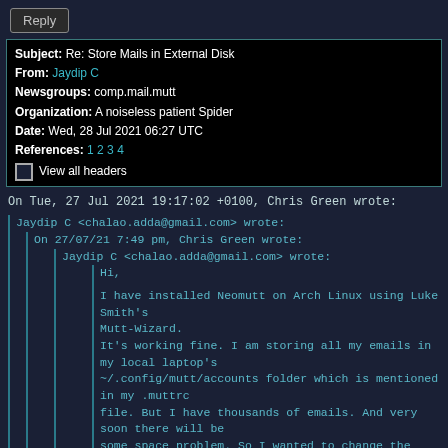Reply
Subject: Re: Store Mails in External Disk
From: Jaydip C
Newsgroups: comp.mail.mutt
Organization: A noiseless patient Spider
Date: Wed, 28 Jul 2021 06:27 UTC
References: 1 2 3 4
☐ View all headers
On Tue, 27 Jul 2021 19:17:02 +0100, Chris Green wrote:
Jaydip C <chalao.adda@gmail.com> wrote:
  On 27/07/21 7:49 pm, Chris Green wrote:
    Jaydip C <chalao.adda@gmail.com> wrote:
      Hi,

      I have installed Neomutt on Arch Linux using Luke Smith's
      Mutt-Wizard.
      It's working fine. I am storing all my emails in my local laptop's
      ~/.config/mutt/accounts folder which is mentioned in my .muttrc
      file. But I have thousands of emails. And very soon there will be
      some space problem. So I wanted to change the location of storing
      the mails. I intend to store them on an external hard disk. But when
      I write the location of external disk in my .muttrc, Neomutt gives
      me error as "Cannot execute .muttrc file".
      Is there any way to config this?
      Please  help.

  I think you must have some sort of misconfiguration of where things
  are. It should be quite easy to do what you want.

  What hve you actually put in your .muttrc file?  You could post the
  whole thing here, less passwords and anything else private of course.